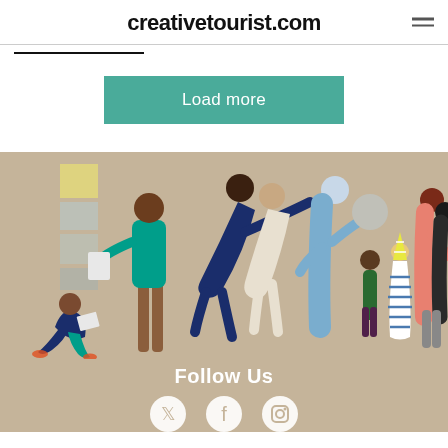creativetourist.com
Load more
[Figure (illustration): Illustrated group of diverse people in a gallery or public space setting, including a seated person reading, a standing person with paper, two dancers or acrobats, a tall figure touching another's head, a small child, a girl in a striped dress, and two adults. Drawn in a flat, minimalist illustration style on a warm beige/tan background.]
Follow Us